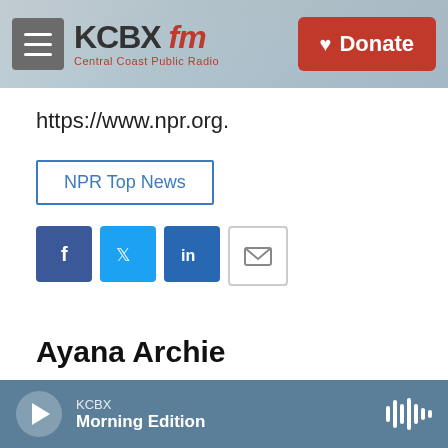KCBX FM — Central Coast Public Radio | Donate
https://www.npr.org.
NPR Top News
[Figure (other): Social sharing icons: Facebook, Twitter, LinkedIn, Email]
Ayana Archie
KCBX Morning Edition (player bar)